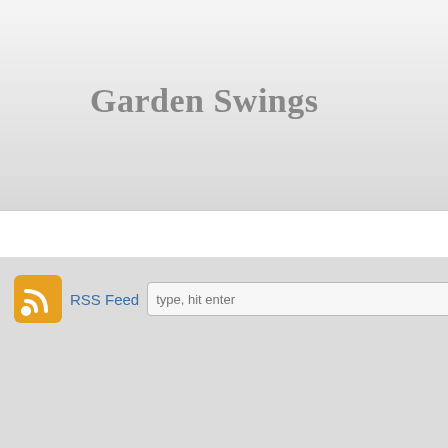Garden Swings
Home
RSS Feed  type, hit enter
Log in
[Figure (screenshot): eBay product image showing colorful striped outdoor rug in blue, green, white tones with blue border and eBay watermark]
[Figure (photo): eBay product photo of an egg nest swing basket chair made of dark gray wicker/rattan weave, close-up view with eBay watermark]
EGG NEST SWING PATIO OUTDOOR
Sharing is c
© Copyright 2022 Garden Swings Theme by zwwooooo & schiy | Powered by WordPress